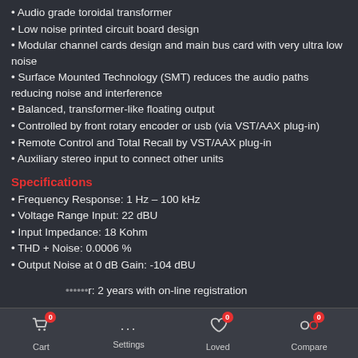Audio grade toroidal transformer
Low noise printed circuit board design
Modular channel cards design and main bus card with very ultra low noise
Surface Mounted Technology (SMT) reduces the audio paths reducing noise and interference
Balanced, transformer-like floating output
Controlled by front rotary encoder or usb (via VST/AAX plug-in)
Remote Control and Total Recall by VST/AAX plug-in
Auxiliary stereo input to connect other units
Specifications
Frequency Response: 1 Hz – 100 kHz
Voltage Range Input: 22 dBU
Input Impedance: 18 Kohm
THD + Noise: 0.0006 %
Output Noise at 0 dB Gain: -104 dBU
Internal Linear Power Supply: +- 16V
Power Consumption: 30 watts
Dimensions: 1U 19" rack (484mm x 44.5mm x 265mm)
Weight: 3.6 Kg
Power Supply: 110 – 220 Vac (factory programmed with internal selector)
Warranty: 2 years with on-line registration
Cart 0 | Settings | Loved 0 | Compare 0